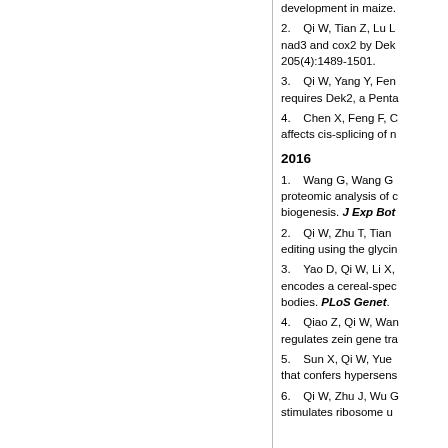development in maize.
2. Qi W, Tian Z, Lu L... nad3 and cox2 by Dek... 205(4):1489-1501.
3. Qi W, Yang Y, Fen... requires Dek2, a Penta...
4. Chen X, Feng F, C... affects cis-splicing of n...
2016
1. Wang G, Wang G... proteomic analysis of c... biogenesis. J Exp Bot.
2. Qi W, Zhu T, Tian... editing using the glycin...
3. Yao D, Qi W, Li X,... encodes a cereal-spec... bodies. PLoS Genet.
4. Qiao Z, Qi W, Wan... regulates zein gene tr...
5. Sun X, Qi W, Yue... that confers hypersens...
6. Qi W, Zhu J, Wu G... stimulates ribosome u...